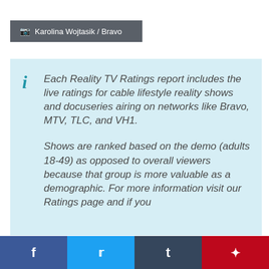Karolina Wojtasik / Bravo
Each Reality TV Ratings report includes the live ratings for cable lifestyle reality shows and docuseries airing on networks like Bravo, MTV, TLC, and VH1.

Shows are ranked based on the demo (adults 18-49) as opposed to overall viewers because that group is more valuable as a demographic. For more information visit our Ratings page and if you
Facebook  Twitter  Tumblr  Pinterest